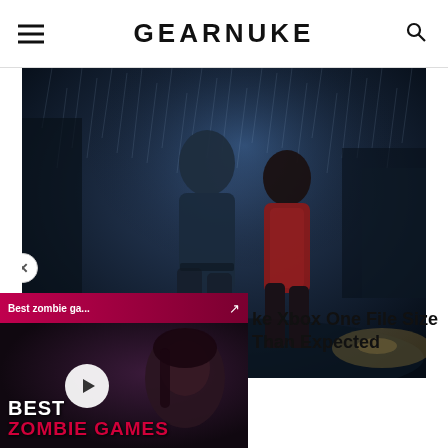GEARNUKE
[Figure (screenshot): Dark atmospheric screenshot from Resident Evil 2 remake showing two characters (Leon and Claire) standing in heavy rain at night]
[Figure (screenshot): Video overlay thumbnail labeled 'Best zombie ga...' with play button, showing 'BEST ZOMBIE GAMES' text in white and red on dark background]
ke Xbox One File Size Than Expected
1 min read